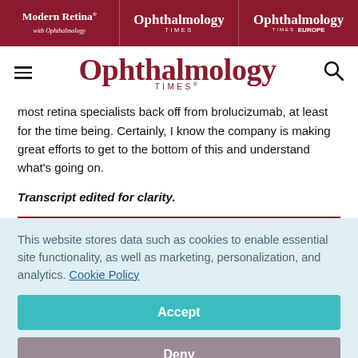Modern Retina | Ophthalmology Times | Ophthalmology Times Europe
[Figure (logo): Ophthalmology Times logo with hamburger menu and search icon]
most retina specialists back off from brolucizumab, at least for the time being. Certainly, I know the company is making great efforts to get to the bottom of this and understand what's going on.
Transcript edited for clarity.
This website stores data such as cookies to enable essential site functionality, as well as marketing, personalization, and analytics. Cookie Policy
Accept
Deny